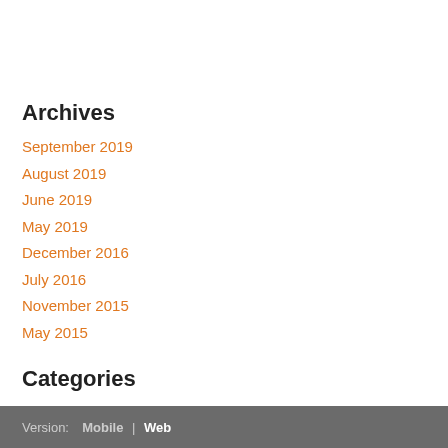Archives
September 2019
August 2019
June 2019
May 2019
December 2016
July 2016
November 2015
May 2015
Categories
All
RSS Feed
Version:  Mobile  |  Web